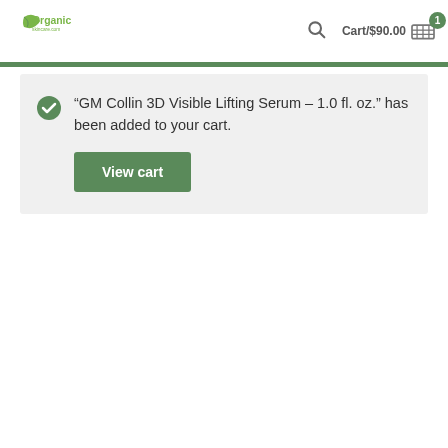Organic skincare.com — Cart/$90.00 [1]
“GM Collin 3D Visible Lifting Serum – 1.0 fl. oz.” has been added to your cart.
View cart